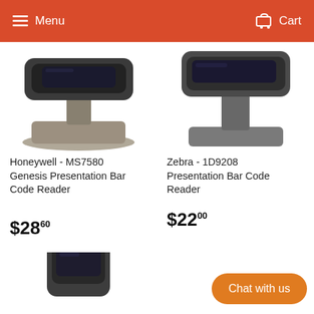Menu  Cart
[Figure (photo): Honeywell MS7580 Genesis Presentation Bar Code Reader product photo]
Honeywell - MS7580 Genesis Presentation Bar Code Reader
$28.60
[Figure (photo): Zebra 1D9208 Presentation Bar Code Reader product photo]
Zebra - 1D9208 Presentation Bar Code Reader
$22.00
[Figure (photo): Third barcode reader product photo, partially visible at bottom]
Chat with us